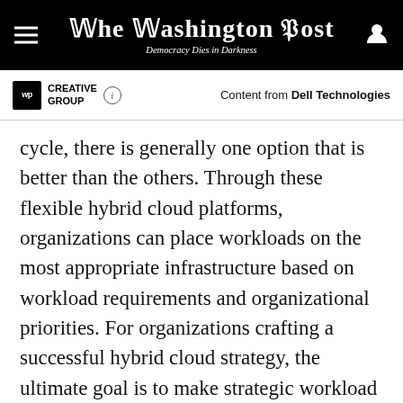The Washington Post — Democracy Dies in Darkness
[Figure (logo): WP Creative Group logo with info icon and 'Content from Dell Technologies' label]
cycle, there is generally one option that is better than the others. Through these flexible hybrid cloud platforms, organizations can place workloads on the most appropriate infrastructure based on workload requirements and organizational priorities. For organizations crafting a successful hybrid cloud strategy, the ultimate goal is to make strategic workload placement decisions that meet service-level agreements (SLAs), enhance security and maximize efficiency at the lowest cost. Hybrid